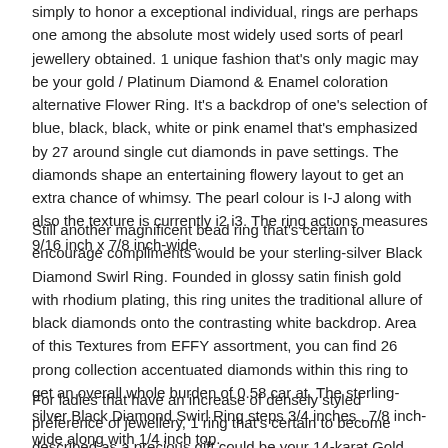simply to honor a exceptional individual, rings are perhaps one among the absolute most widely used sorts of pearl jewellery obtained. 1 unique fashion that's only magic may be your gold / Platinum Diamond & Enamel coloration alternative Flower Ring. It's a backdrop of one's selection of blue, black, black, white or pink enamel that's emphasized by 27 around single cut diamonds in pave settings. The diamonds shape an entertaining flowery layout to get an extra chance of whimsy. The pearl colour is I-J along with also the texture is currently i2 i3. The ring actions measures 9/16 inch x 7/8 inch-wide.
Still another magnificent bead ring that's certain to encourage compliments would be your sterling-silver Black Diamond Swirl Ring. Founded in glossy satin finish gold with rhodium plating, this ring unites the traditional allure of black diamonds onto the contrasting white backdrop. Area of this Textures from EFFY assortment, you can find 26 prong collection accentuated diamonds within this ring to get an overall whole burden of 0.58 car at. The sterling-silver Black Diamond Swirl Ring steps 3/4 inches , 7/8 inch-wide along with 1/4 inch top.
For ladies that have an increase of densely styled preference of jewellery, 1 ring that's certain to become described as a precious gift could be your 14-karat Gold 1.31 Carat Diamond Pave Place Elongated Ring. Area of this EFFY assortment, this enormous, daring design and style is made in 14 karat gold and contains within ninety diamonds for a entire burden of 1.31 car at. This consists of 2 4 round total trimming